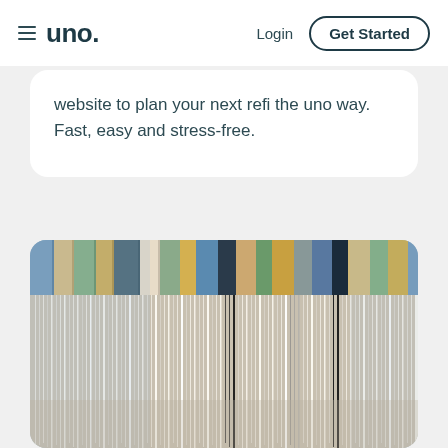uno. Login Get Started
website to plan your next refi the uno way. Fast, easy and stress-free.
[Figure (photo): Close-up photograph of the spines and pages of multiple books or notebooks stacked/fanned together, showing various colored covers (blue, tan, green, gold, black, white) with pages fanned out, shot with shallow depth of field.]